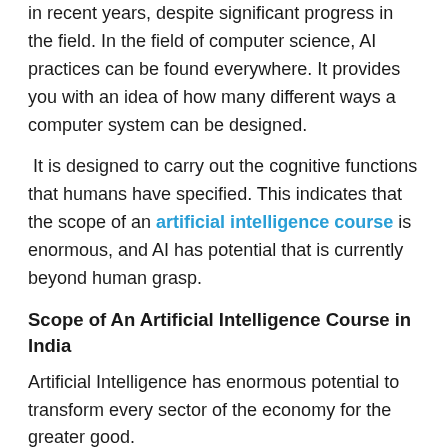in recent years, despite significant progress in the field. In the field of computer science, AI practices can be found everywhere. It provides you with an idea of how many different ways a computer system can be designed.
It is designed to carry out the cognitive functions that humans have specified. This indicates that the scope of an artificial intelligence course is enormous, and AI has potential that is currently beyond human grasp.
Scope of An Artificial Intelligence Course in India
Artificial Intelligence has enormous potential to transform every sector of the economy for the greater good.
AI encompasses a wide range of technologies, including self-improving algorithms, machine learning, big data, and pattern recognition, to name a few. There will be few industries or sectors left unaffected by this potent weapon in the not too distant future. This is why online Artificial Intelligence courses are becoming increasingly popular in India.
With each passing day, the gap between the number of AI